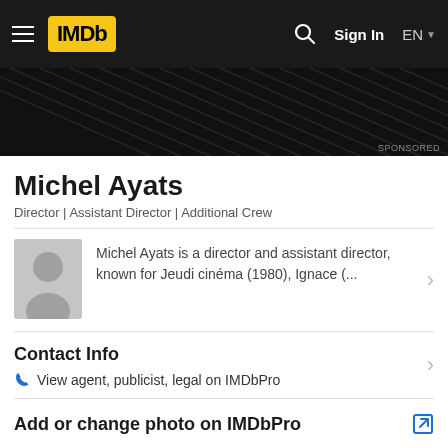IMDb — Sign In | EN
[Figure (screenshot): IMDb navigation bar with hamburger menu, IMDb yellow logo, search icon, Sign In button, and EN language selector on black background]
[Figure (photo): Sponsored banner area with dark background and diagonal line texture, labeled SPONSORED]
Michel Ayats
Director | Assistant Director | Additional Crew
Michel Ayats is a director and assistant director, known for Jeudi cinéma (1980), Ignace (...
Contact Info
View agent, publicist, legal on IMDbPro
Add or change photo on IMDbPro
Filmography